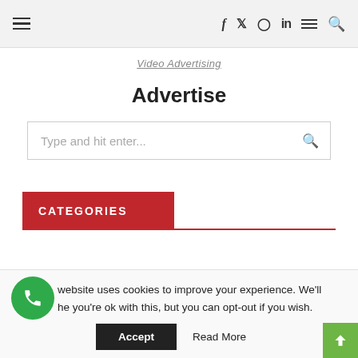Navigation bar with hamburger menu, social icons (f, Twitter, Instagram, in), menu icon, and search icon
Video Advertising
Advertise
Type and hit enter...
CATEGORIES
website uses cookies to improve your experience. We'll he you're ok with this, but you can opt-out if you wish.
Accept   Read More